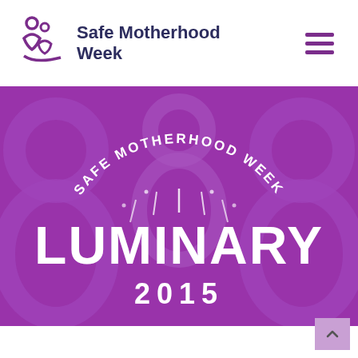[Figure (logo): Safe Motherhood Week logo with two mother-child figures and text 'Safe Motherhood Week' in dark navy, with hamburger menu icon in purple on the right]
[Figure (infographic): Purple banner with 'SAFE MOTHERHOOD WEEK' in arched white text at top, decorative semi-circle tick marks in center, large white 'LUMINARY' text, and '2015' below, on decorative purple background with subtle figure motifs]